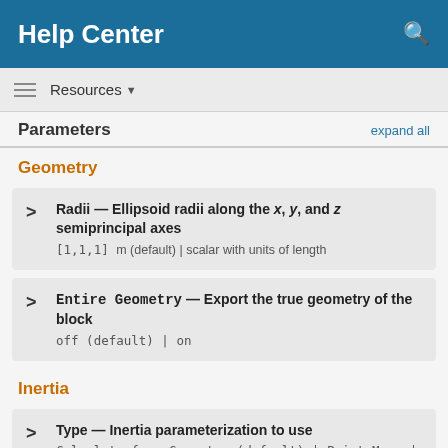Help Center
Resources
Parameters
Geometry
Radii — Ellipsoid radii along the x, y, and z semiprincipal axes
[1,1,1] m (default) | scalar with units of length
Entire Geometry — Export the true geometry of the block
off (default) | on
Inertia
Type — Inertia parameterization to use
Calculate from Geometry (default) | Point Mass | Custom